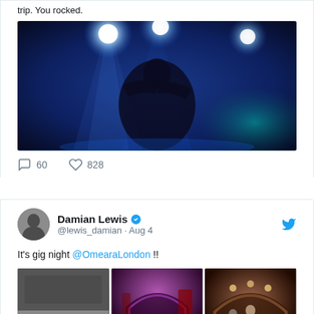trip. You rocked.
[Figure (photo): Concert performer on stage lit by bright blue and white spotlights against a dark background]
60 comments, 828 likes
Damian Lewis @lewis_damian · Aug 4
It's gig night @OmearaLondon !!
[Figure (photo): Three photos of Omeara London venue: exterior/entrance, interior with purple lighting and archways, and stage area with brick arched ceiling]